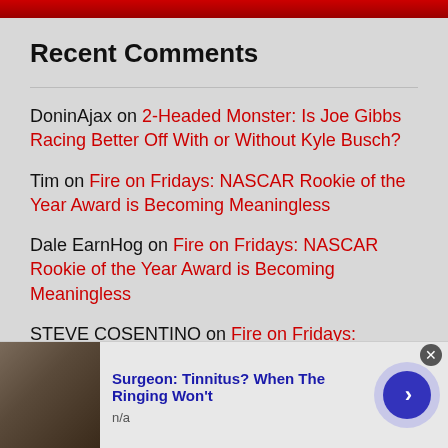Recent Comments
DoninAjax on 2-Headed Monster: Is Joe Gibbs Racing Better Off With or Without Kyle Busch?
Tim on Fire on Fridays: NASCAR Rookie of the Year Award is Becoming Meaningless
Dale EarnHog on Fire on Fridays: NASCAR Rookie of the Year Award is Becoming Meaningless
STEVE COSENTINO on Fire on Fridays: NASCAR Rookie of the Year Award is Becoming Meaningless
Surgeon: Tinnitus? When The Ringing Won't
n/a